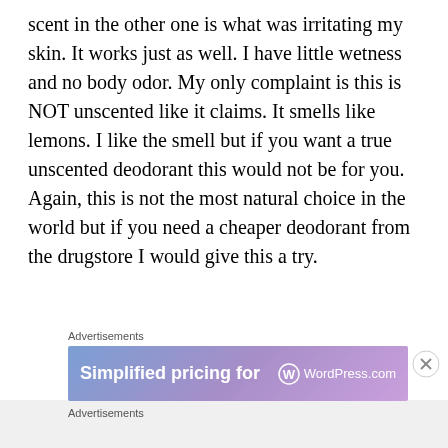scent in the other one is what was irritating my skin. It works just as well. I have little wetness and no body odor. My only complaint is this is NOT unscented like it claims. It smells like lemons. I like the smell but if you want a true unscented deodorant this would not be for you. Again, this is not the most natural choice in the world but if you need a cheaper deodorant from the drugstore I would give this a try.
[Figure (other): Advertisement banner for WordPress.com showing 'Simplified pricing for' text with WordPress.com logo on a purple-blue gradient background. Labeled 'Advertisements' above and below.]